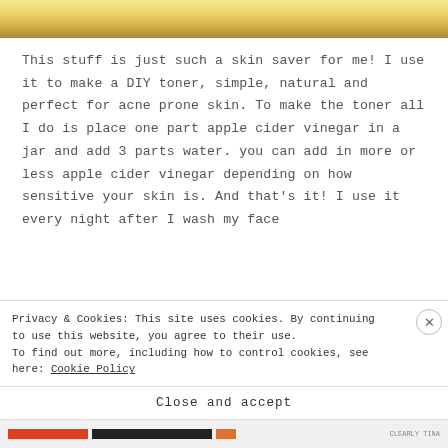[Figure (photo): Partial top image showing warm yellow/golden bokeh lights]
This stuff is just such a skin saver for me! I use it to make a DIY toner, simple, natural and perfect for acne prone skin. To make the toner all I do is place one part apple cider vinegar in a jar and add 3 parts water. you can add in more or less apple cider vinegar depending on how sensitive your skin is. And that's it! I use it every night after I wash my face
Privacy & Cookies: This site uses cookies. By continuing to use this website, you agree to their use.
To find out more, including how to control cookies, see here: Cookie Policy
Close and accept